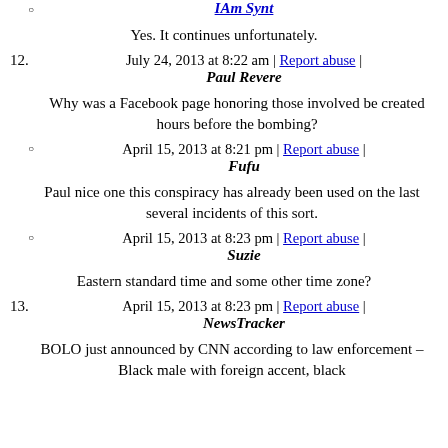IAm Synt
Yes. It continues unfortunately.
12. Paul Revere — July 24, 2013 at 8:22 am | Report abuse
Why was a Facebook page honoring those involved be created hours before the bombing?
Fufu — April 15, 2013 at 8:21 pm | Report abuse
Paul nice one this conspiracy has already been used on the last several incidents of this sort.
Suzie — April 15, 2013 at 8:23 pm | Report abuse
Eastern standard time and some other time zone?
13. NewsTracker — April 15, 2013 at 8:23 pm | Report abuse
BOLO just announced by CNN according to law enforcement – Black male with foreign accent, black